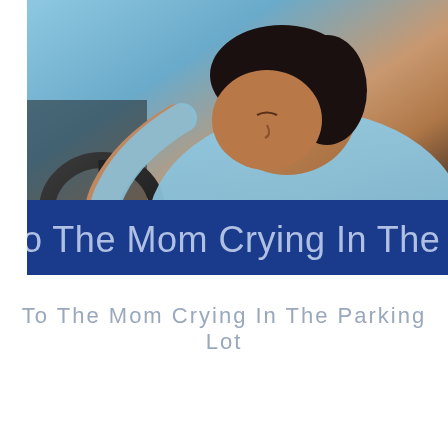[Figure (photo): A woman with her head resting/leaning on a car steering wheel, appearing distressed or crying, wearing a light blue top. The photo is taken from the side. A dark blue banner overlays the bottom of the image with partial text 'o The Mom Crying In The Parking L'.]
To The Mom Crying In The Parking Lot